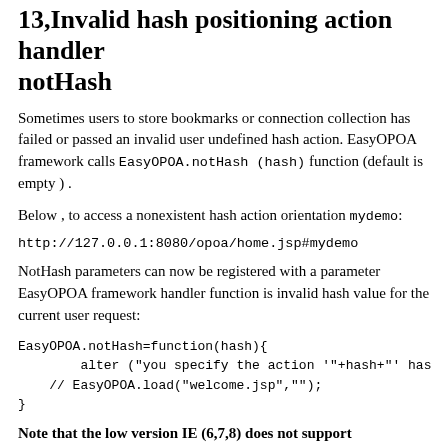13,Invalid hash positioning action handler notHash
Sometimes users to store bookmarks or connection collection has failed or passed an invalid user undefined hash action. EasyOPOA framework calls EasyOPOA.notHash (hash) function (default is empty ) .
Below , to access a nonexistent hash action orientation mydemo:
http://127.0.0.1:8080/opoa/home.jsp#mydemo
NotHash parameters can now be registered with a parameter EasyOPOA framework handler function is invalid hash value for the current user request:
EasyOPOA.notHash=function(hash){
        alter ("you specify the action '"+hash+"' has
    // EasyOPOA.load("welcome.jsp","");
}
Note that the low version IE (6,7,8) does not support console.info (), replace the post in order to run for the alter or otherwise.
14. using the leading process object state